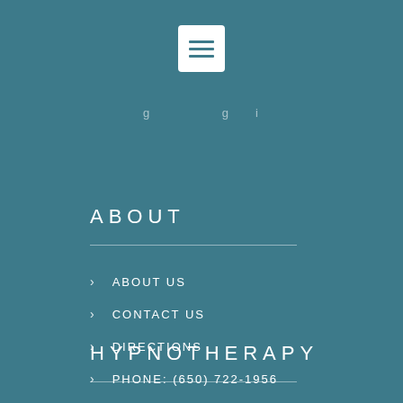[Figure (other): Hamburger menu button - white square with three dark horizontal lines]
navigation partial text (partially visible)
ABOUT
ABOUT US
CONTACT US
DIRECTIONS
PHONE: (650) 722-1956
CYNTHIA@CYNTHIABECK.COM
HYPNOTHERAPY